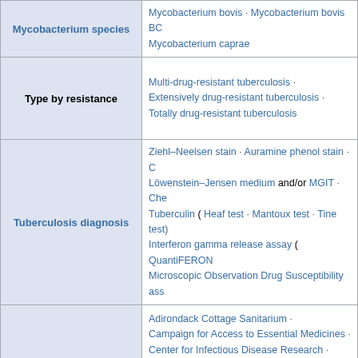| Category | Content |
| --- | --- |
| Mycobacterium species | Mycobacterium bovis · Mycobacterium bovis BCG · Mycobacterium caprae |
| Type by resistance | Multi-drug-resistant tuberculosis · Extensively drug-resistant tuberculosis · Totally drug-resistant tuberculosis |
| Tuberculosis diagnosis | Ziehl–Neelsen stain · Auramine phenol stain · C... Löwenstein–Jensen medium and/or MGIT · Che... Tuberculin ( Heaf test · Mantoux test · Tine test) Interferon gamma release assay ( QuantiFERON... Microscopic Observation Drug Susceptibility ass... |
| Organizations | Adirondack Cottage Sanitarium · Campaign for Access to Essential Medicines · Center for Infectious Disease Research · Cure Cottages of Saranac Lake · Glen Lake Chi... Glen Lake Sanatorium · Glenn Dale Hospital · The Global Fund to Fight AIDS, Tuberculosis an... Global Plan to Stop Tuberculosis · International Congress on Tuberculosis · Millenni... Mycobacterium Tuberculosis Structural Genomi... National Jewish Health · Phipps Institute for the Study, Treatment and Pre... · Stop TB Partnership · TB Alliance · Unitaid |
| (partial) | 2007 tuberculosis scare · 72F fusion protein vac... Baumgarten-Tangl law · CFP-10 · ESAT-6 · Iowa... |